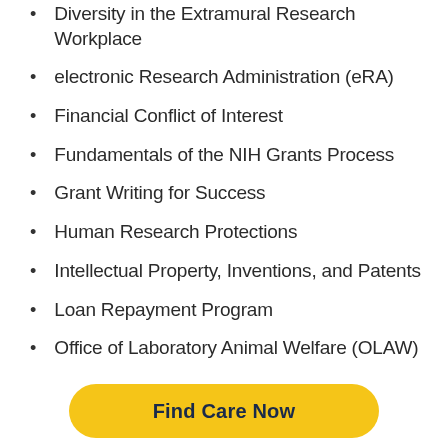Diversity in the Extramural Research Workplace
electronic Research Administration (eRA)
Financial Conflict of Interest
Fundamentals of the NIH Grants Process
Grant Writing for Success
Human Research Protections
Intellectual Property, Inventions, and Patents
Loan Repayment Program
Office of Laboratory Animal Welfare (OLAW)
Find Care Now